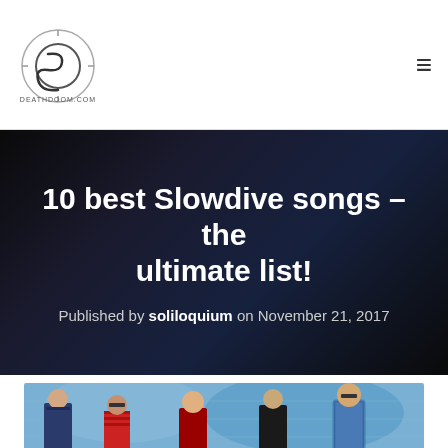deathdoom.com
10 best Slowdive songs – the ultimate list!
Published by soliloquium on November 21, 2017
[Figure (photo): Band photo of Slowdive – five members standing in front of a blue spray-painted wall]